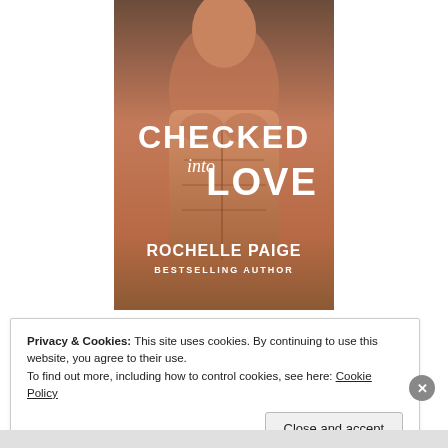[Figure (illustration): Book cover for 'Checked into Love' by Rochelle Paige, Bestselling Author. Shows a shirtless muscular man with the title text overlaid.]
Privacy & Cookies: This site uses cookies. By continuing to use this website, you agree to their use.
To find out more, including how to control cookies, see here: Cookie Policy
Close and accept